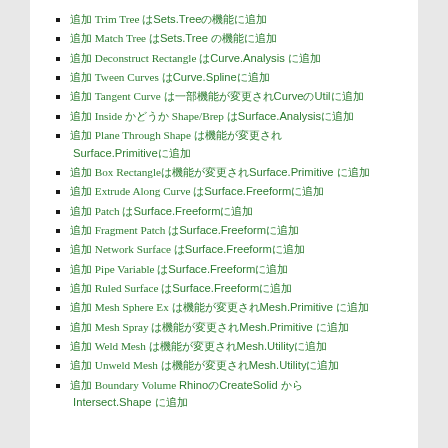追加 Trim Tree はSets.Treeの機能に追加
追加 Match Tree はSets.Tree の機能に追加
追加 Deconstruct Rectangle はCurve.Analysis に追加
追加 Tween Curves はCurve.Splineに追加
追加 Tangent Curve は一部機能が変更されCurveのUtilに追加
追加 Inside かどうか Shape/Brep はSurface.Analysisに追加
追加 Plane Through Shape は機能が変更されSurface.Primitiveに追加
追加 Box Rectangleは機能が変更されSurface.Primitive に追加
追加 Extrude Along Curve はSurface.Freeformに追加
追加 Patch はSurface.Freeformに追加
追加 Fragment Patch はSurface.Freeformに追加
追加 Network Surface はSurface.Freeformに追加
追加 Pipe Variable はSurface.Freeformに追加
追加 Ruled Surface はSurface.Freeformに追加
追加 Mesh Sphere Ex は機能が変更されMesh.Primitive に追加
追加 Mesh Spray は機能が変更されMesh.Primitive に追加
追加 Weld Mesh は機能が変更されMesh.Utilityに追加
追加 Unweld Mesh は機能が変更されMesh.Utilityに追加
追加 Boundary Volume RhinoのCreateSolid からIntersect.Shape に追加